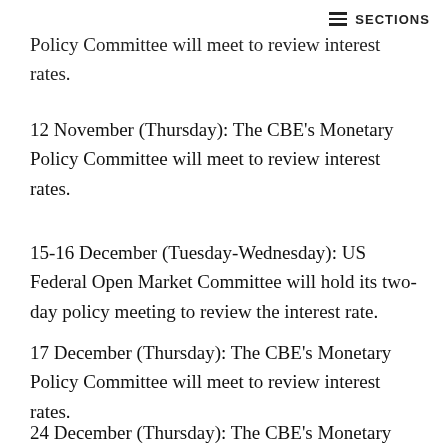≡ SECTIONS
Policy Committee will meet to review interest rates.
12 November (Thursday): The CBE's Monetary Policy Committee will meet to review interest rates.
15-16 December (Tuesday-Wednesday): US Federal Open Market Committee will hold its two-day policy meeting to review the interest rate.
17 December (Thursday): The CBE's Monetary Policy Committee will meet to review interest rates.
24 December (Thursday): The CBE's Monetary